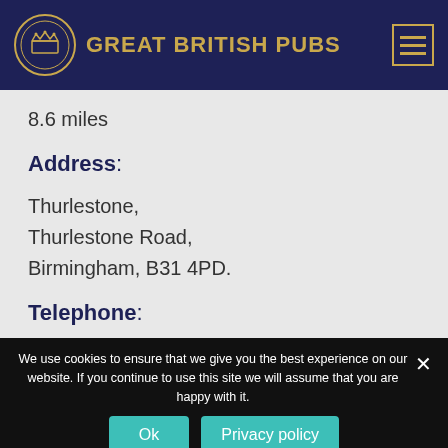GREAT BRITISH PUBS
8.6 miles
Address:
Thurlestone,
Thurlestone Road,
Birmingham, B31 4PD.
Telephone:
We use cookies to ensure that we give you the best experience on our website. If you continue to use this site we will assume that you are happy with it.